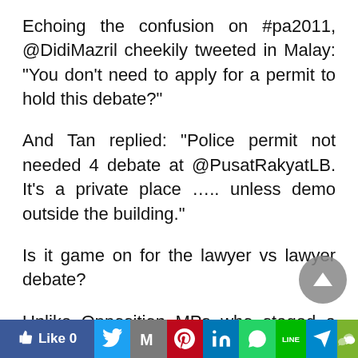Echoing the confusion on #pa2011, @DidiMazril cheekily tweeted in Malay: “You don’t need to apply for a permit to hold this debate?”
And Tan replied: “Police permit not needed 4 debate at @PusatRakyatLB. It’s a private place ….. unless demo outside the building.”
Is it game on for the lawyer vs lawyer debate?
Unlike Opposition MPs who staged a walkout before the Peaceful Assembly Bill 2011 was passed on Tuesday, it was unlikely Bon and Tan would #WalkOut.
Like 0 | Twitter | Gmail | Pinterest | LinkedIn | WhatsApp | Line | Telegram | WeChat